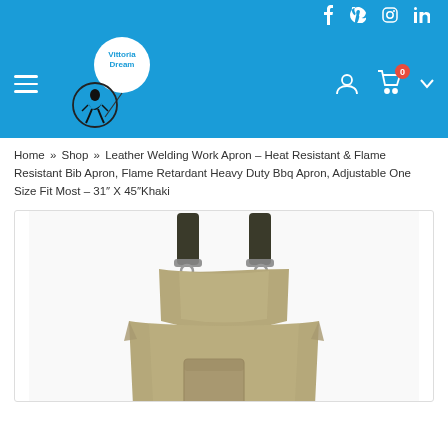Social icons: Facebook, Pinterest, Instagram, LinkedIn
[Figure (logo): Vittoria Dream logo - girl with balloon, blue background navigation header with hamburger menu, user icon, cart icon with 0 badge, and dropdown arrow]
Home » Shop » Leather Welding Work Apron – Heat Resistant & Flame Resistant Bib Apron, Flame Retardant Heavy Duty Bbq Apron, Adjustable One Size Fit Most – 31″ X 45″Khaki
[Figure (photo): Khaki leather welding apron with black straps and buckles, single chest pocket, shown from front view on white background]